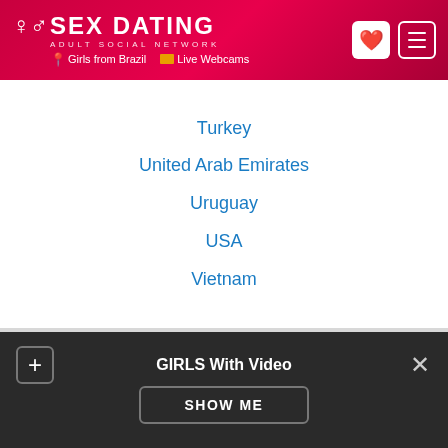SEX DATING ADULT SOCIAL NETWORK | Girls from Brazil | Live Webcams
Turkey
United Arab Emirates
Uruguay
USA
Vietnam
Sex Dating
[Figure (photo): Advertisement banner with black background and yellow bold italic text reading "I'm All Wet" and white text "I need a" below]
GIRLS With Video SHOW ME